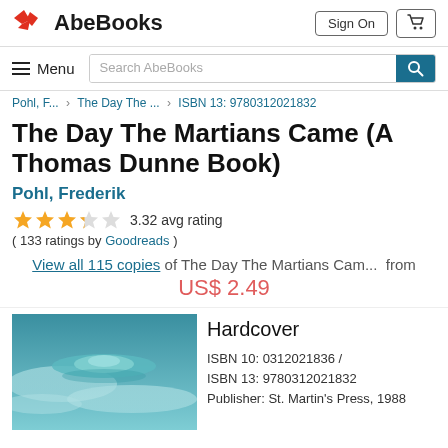AbeBooks
Sign On | Cart
Menu | Search AbeBooks
Pohl, F... > The Day The ... > ISBN 13: 9780312021832
The Day The Martians Came (A Thomas Dunne Book)
Pohl, Frederik
3.32 avg rating
( 133 ratings by Goodreads )
View all 115 copies of The Day The Martians Cam... from US$ 2.49
[Figure (photo): Book cover showing a stylized illustration of a flying saucer/UFO in teal/cyan tones against a cloudy sky background]
Hardcover
ISBN 10: 0312021836 /
ISBN 13: 9780312021832
Publisher: St. Martin's Press, 1988